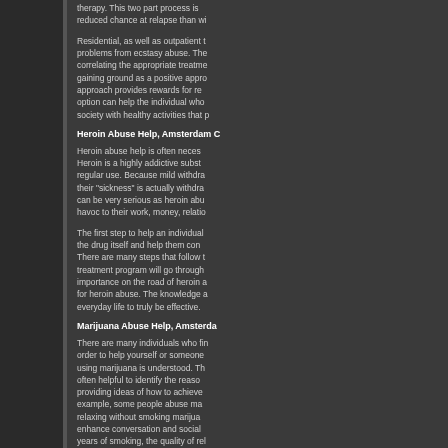therapy. This two part process is reduced chance at relapse than wi
Residential, as well as outpatient problems from ecstasy abuse. The correlating the appropriate treatme gaining ground as a positive appro approach provides rewards for re option can help the individual who society with healthy activities that p
Heroin Abuse Help, Amsterdam C
Heroin abuse help is often neces Heroin is a highly addictive subst regular use. Because mild withdra their "sickness" is actually withdra can be very serious as heroin abu havoc to their work, money, relatio
The first step to help an individual the drug itself and help them con There are many steps that follow t treatment program will go through importance on the road of heroin a for heroin abuse. The knowledge a everyday life to truly be effective.
Marijuana Abuse Help, Amsterda
There are many individuals who fi order to help yourself or someone using marijuana is understood. Th often helpful to identify the reaso providing ideas of how to achieve example, some people abuse ma relaxing without smoking marijua enhance conversation and social years of smoking, the quality of rel